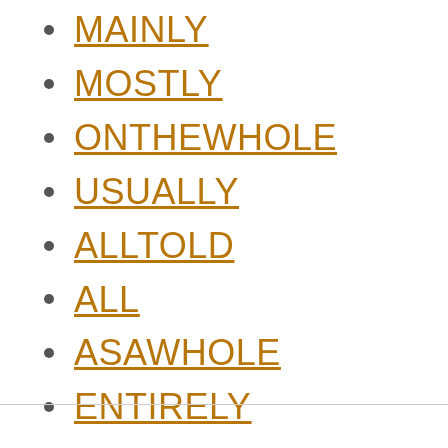MAINLY
MOSTLY
ONTHEWHOLE
USUALLY
ALLTOLD
ALL
ASAWHOLE
ENTIRELY